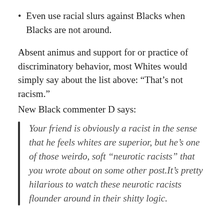Even use racial slurs against Blacks when Blacks are not around.
Absent animus and support for or practice of discriminatory behavior, most Whites would simply say about the list above: “That’s not racism.”
New Black commenter D says:
Your friend is obviously a racist in the sense that he feels whites are superior, but he’s one of those weirdo, soft “neurotic racists” that you wrote about on some other post.It’s pretty hilarious to watch these neurotic racists flounder around in their shitty logic.